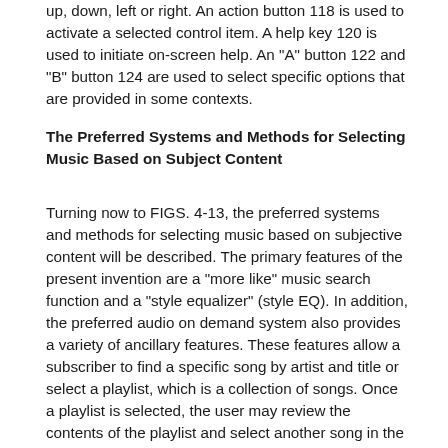up, down, left or right. An action button 118 is used to activate a selected control item. A help key 120 is used to initiate on-screen help. An "A" button 122 and "B" button 124 are used to select specific options that are provided in some contexts.
The Preferred Systems and Methods for Selecting Music Based on Subject Content
Turning now to FIGS. 4-13, the preferred systems and methods for selecting music based on subjective content will be described. The primary features of the present invention are a "more like" music search function and a "style equalizer" (style EQ). In addition, the preferred audio on demand system also provides a variety of ancillary features. These features allow a subscriber to find a specific song by artist and title or select a playlist, which is a collection of songs. Once a playlist is selected, the user may review the contents of the playlist and select another song in the playlist. While a song is playing, the listener may add the song to a playlist called "my favorites", or mark the song so that it is never played again. Each of these features is discussed in conjunction with its corresponding user interface and control objects.